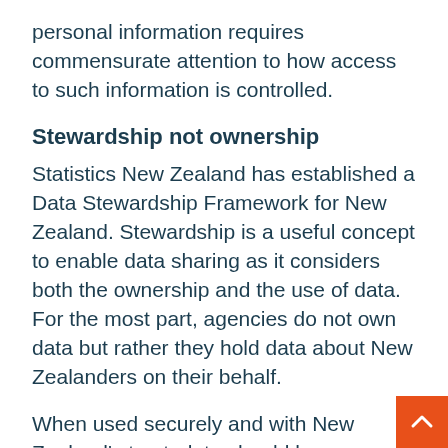personal information requires commensurate attention to how access to such information is controlled.
Stewardship not ownership
Statistics New Zealand has established a Data Stewardship Framework for New Zealand. Stewardship is a useful concept to enable data sharing as it considers both the ownership and the use of data. For the most part, agencies do not own data but rather they hold data about New Zealanders on their behalf.
When used securely and with New Zealand's trust, data should be seen as a means to provide rich insights, inform decision making and innovation and